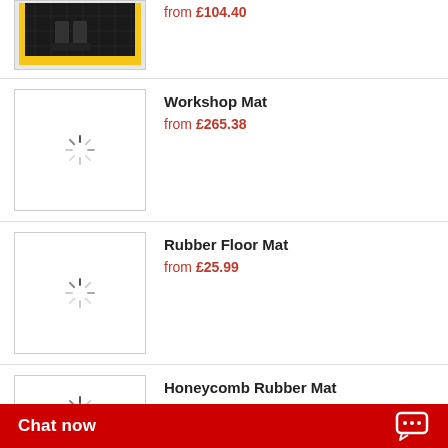[Figure (photo): Top product image partially visible - mat with yellow border, person standing on it. Price shown: from £104.40]
from £104.40
[Figure (photo): Workshop Mat product image placeholder with loading spinner]
Workshop Mat
from £265.38
[Figure (photo): Rubber Floor Mat product image placeholder with loading spinner]
Rubber Floor Mat
from £25.99
[Figure (photo): Honeycomb Rubber Mat product image placeholder with loading spinner]
Honeycomb Rubber Mat
from £38.99 (partially visible)
Chat now